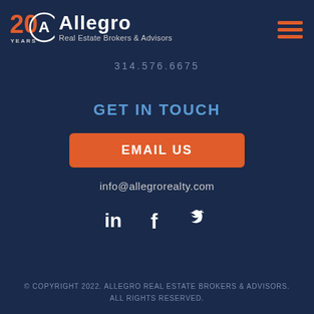[Figure (logo): Allegro Real Estate Brokers & Advisors logo with 20 Years badge and hamburger menu icon]
314.576.6675
GET IN TOUCH
EMAIL US
info@allegrorealty.com
[Figure (illustration): Social media icons: LinkedIn, Facebook, Twitter]
© COPYRIGHT 2022. ALLEGRO REAL ESTATE BROKERS & ADVISORS. ALL RIGHTS RESERVED.